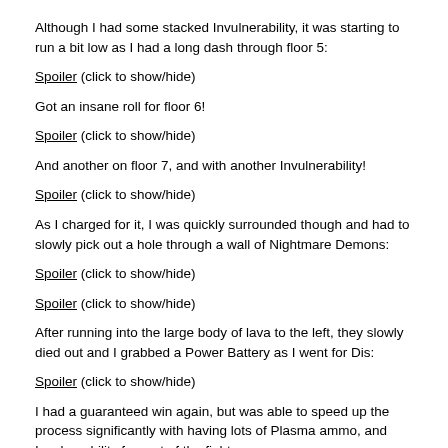Although I had some stacked Invulnerability, it was starting to run a bit low as I had a long dash through floor 5:
Spoiler (click to show/hide)
Got an insane roll for floor 6!
Spoiler (click to show/hide)
And another on floor 7, and with another Invulnerability!
Spoiler (click to show/hide)
As I charged for it, I was quickly surrounded though and had to slowly pick out a hole through a wall of Nightmare Demons:
Spoiler (click to show/hide)
Spoiler (click to show/hide)
After running into the large body of lava to the left, they slowly died out and I grabbed a Power Battery as I went for Dis:
Spoiler (click to show/hide)
I had a guaranteed win again, but was able to speed up the process significantly with having lots of Plasma ammo, and Invulnerability for part of the fight:
Spoiler (click to show/hide)